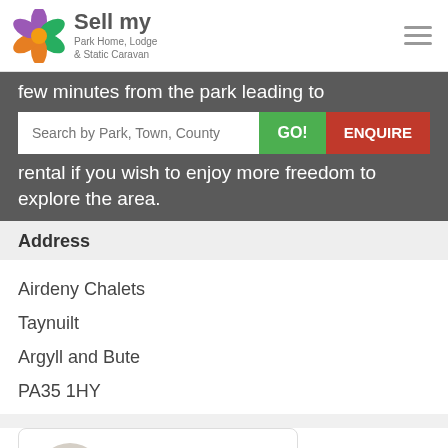Sell my Park Home, Lodge & Static Caravan
few minutes from the park leading to
rental if you wish to enjoy more freedom to explore the area.
Address
Airdeny Chalets
Taynuilt
Argyll and Bute
PA35 1HY
[Figure (other): GET DIRECTIONS button with map pin icon]